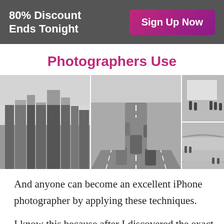80% Discount Ends Tonight   Sign Up Now
Photographers Use
[Figure (photo): Three black-and-white photographs side by side: left shows a city skyline with tall buildings, center shows a multi-lane road with traffic viewed from above, right shows two interior spaces of what appears to be a museum with silhouettes of people.]
And anyone can become an excellent iPhone photographer by applying these techniques.
I know this because after I discovered the exact techniques that the pros are using and started